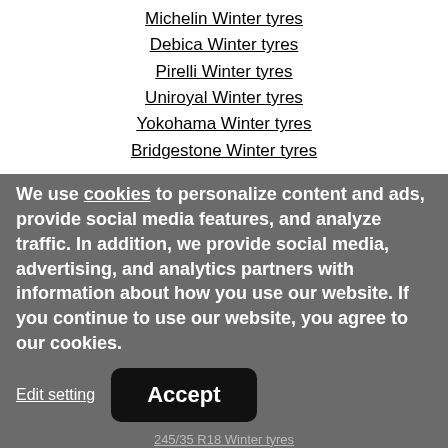Michelin Winter tyres
Debica Winter tyres
Pirelli Winter tyres
Uniroyal Winter tyres
Yokohama Winter tyres
Bridgestone Winter tyres
Summer Tyres
235/45 R18 Summer tyres
225/30 ZR22 Summer tyres
255/40 RF17 Summer tyres
225/35/19 Summer tyres
165/70 R13 Summer tyres
205/45 RF17 Summer tyres
265/50 R20 Summer tyres
285/35 R22 Summer tyres
165/70 R14 Winter tyres
245/35 R18 Winter tyres
We use cookies to personalize content and ads, provide social media features, and analyze traffic. In addition, we provide social media, advertising, and analytics partners with information about how you use our website. If you continue to use our website, you agree to our cookies.